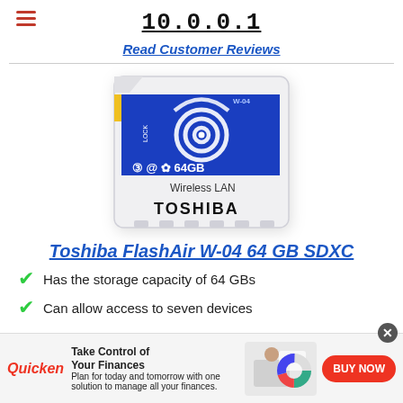10.0.0.1
Read Customer Reviews
[Figure (photo): Toshiba FlashAir W-04 64GB SDXC wireless LAN SD card product image. White card with blue section showing WiFi symbol, 64GB text, Wireless LAN label, and TOSHIBA brand name.]
Toshiba FlashAir W-04 64 GB SDXC
Has the storage capacity of 64 GBs
Can allow access to seven devices
[Figure (infographic): Advertisement banner for Quicken software. Shows Quicken logo in red italic, text 'Take Control of Your Finances - Plan for today and tomorrow with one solution to manage all your finances.', image of woman at laptop, and red BUY NOW button.]